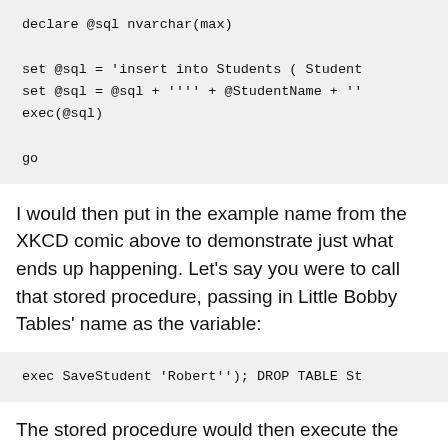declare @sql nvarchar(max)

set @sql = 'insert into Students ( Student
set @sql = @sql + '''' + @StudentName + ''
exec(@sql)

go
I would then put in the example name from the XKCD comic above to demonstrate just what ends up happening. Let's say you were to call that stored procedure, passing in Little Bobby Tables' name as the variable:
exec SaveStudent 'Robert''); DROP TABLE St
The stored procedure would then execute the following command: